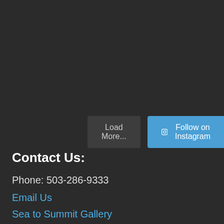Load More...
Follow on Instagram
Contact Us:
Phone: 503-286-9333
Email Us
Sea to Summit Gallery
Frequently Asked Questions